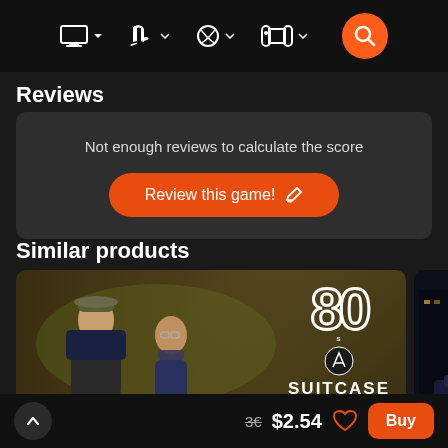[Figure (screenshot): Navigation bar with platform icons: PC monitor, PlayStation, Xbox, Nintendo Switch, and an orange search button]
Reviews
Not enough reviews to calculate the score
Review this game!
Similar products
[Figure (screenshot): Game card for '80s Suitcase' showing two characters and the game logo. A partial second card showing 'R.P.D' is visible on the right.]
3€  $2.54
Buy